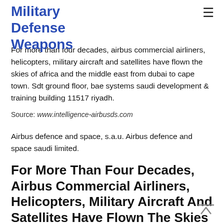Military Defense Weapons
For more than four decades, airbus commercial airliners, helicopters, military aircraft and satellites have flown the skies of africa and the middle east from dubai to cape town. Sdt ground floor, bae systems saudi development & training building 11517 riyadh.
Source: www.intelligence-airbusds.com
Airbus defence and space, s.a.u. Airbus defence and space saudi limited.
For More Than Four Decades, Airbus Commercial Airliners, Helicopters, Military Aircraft And Satellites Have Flown The Skies Of Africa And The Middle East From Dubai To...